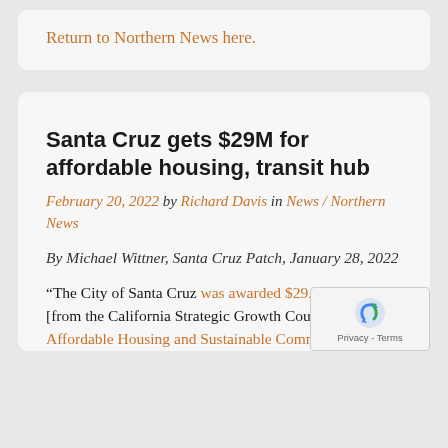Return to Northern News here.
Santa Cruz gets $29M for affordable housing, transit hub
February 20, 2022 by Richard Davis in News / Northern News
By Michael Wittner, Santa Cruz Patch, January 28, 2022
“The City of Santa Cruz was awarded $29.6 million [from the California Strategic Growth Council’s Affordable Housing and Sustainable Communities